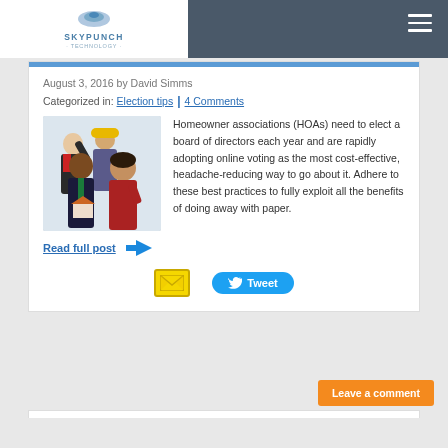SKYPUNCH TECHNOLOGY
August 3, 2016 by David Simms
Categorized in: Election tips | 4 Comments
[Figure (photo): Group of professionals including a man in hard hat holding a house model, people in business attire giving thumbs up]
Homeowner associations (HOAs) need to elect a board of directors each year and are rapidly adopting online voting as the most cost-effective, headache-reducing way to go about it. Adhere to these best practices to fully exploit all the benefits of doing away with paper.
Read full post →
Tweet
Leave a comment